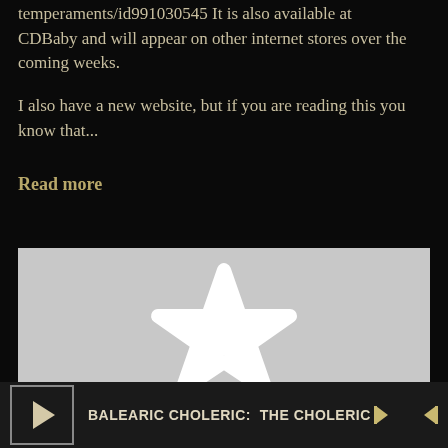temperaments/id991030545 It is also available at CDBaby and will appear on other internet stores over the coming weeks.
I also have a new website, but if you are reading this you know that...
Read more
[Figure (illustration): Gray placeholder image with a white outlined star shape in the center, representing an album or media thumbnail.]
BALEARIC CHOLERIC:  THE CHOLERIC